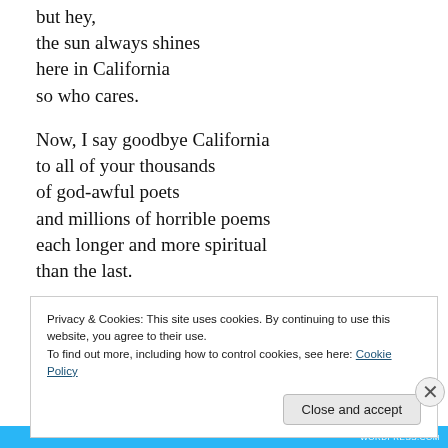but hey,
the sun always shines
here in California
so who cares.

Now, I say goodbye California
to all of your thousands
of god-awful poets
and millions of horrible poems
each longer and more spiritual
than the last.
Privacy & Cookies: This site uses cookies. By continuing to use this website, you agree to their use.
To find out more, including how to control cookies, see here: Cookie Policy
Close and accept